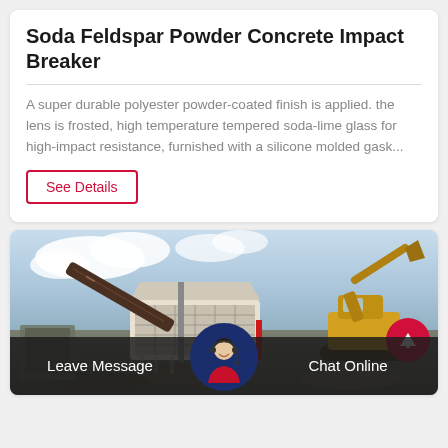Soda Feldspar Powder Concrete Impact Breaker
A super durable polyester powder-coated finish is applied. the lens is frosted, high temperature tempered soda-lime glass for high-impact resistance, furnished with a silicone molded gask...
See Details
[Figure (photo): Construction site with a yellow excavator and industrial impact crusher/breaker machinery on a conveyor system, outdoors with cloudy sky background.]
Leave Message
Chat Online